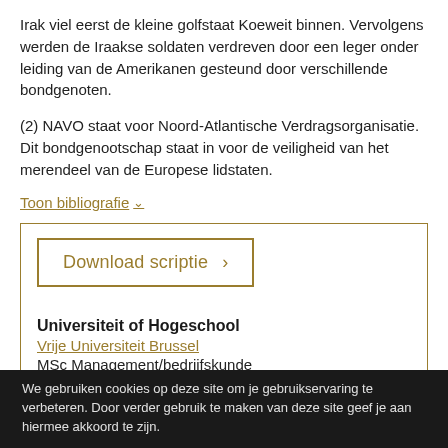Irak viel eerst de kleine golfstaat Koeweit binnen. Vervolgens werden de Iraakse soldaten verdreven door een leger onder leiding van de Amerikanen gesteund door verschillende bondgenoten.
(2) NAVO staat voor Noord-Atlantische Verdragsorganisatie. Dit bondgenootschap staat in voor de veiligheid van het merendeel van de Europese lidstaten.
Toon bibliografie ˅
Download scriptie ›
Universiteit of Hogeschool
Vrije Universiteit Brussel
MSc Management/bedrijfskunde
Publicatiejaar
2018
We gebruiken cookies op deze site om je gebruikservaring te verbeteren. Door verder gebruik te maken van deze site geef je aan hiermee akkoord te zijn.